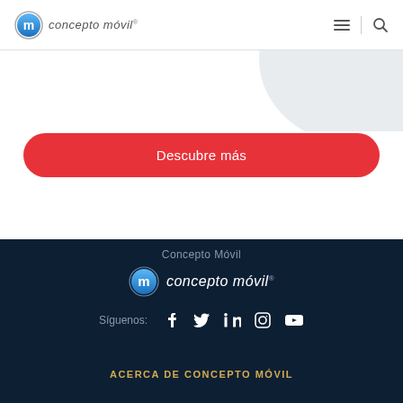concepto móvil
[Figure (illustration): Gray arc/circle decorative element in upper right area]
Descubre más
[Figure (logo): Concepto Móvil logo in dark footer — circular M icon with concepto móvil text]
Concepto Móvil
Síguenos:
[Figure (infographic): Social media icons: Facebook, Twitter, LinkedIn, Instagram, YouTube]
ACERCA DE CONCEPTO MÓVIL